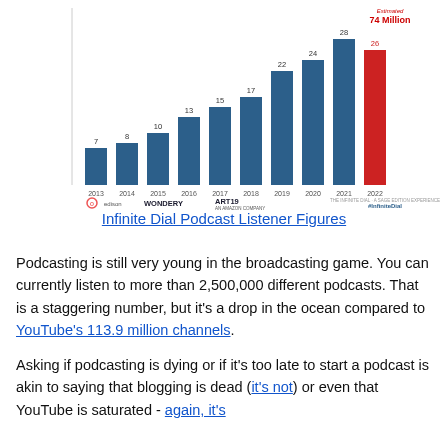[Figure (bar-chart): Infinite Dial Podcast Listener Figures]
Infinite Dial Podcast Listener Figures
Podcasting is still very young in the broadcasting game. You can currently listen to more than 2,500,000 different podcasts. That is a staggering number, but it's a drop in the ocean compared to YouTube's 113.9 million channels.
Asking if podcasting is dying or if it's too late to start a podcast is akin to saying that blogging is dead (it's not) or even that YouTube is saturated - again, it's